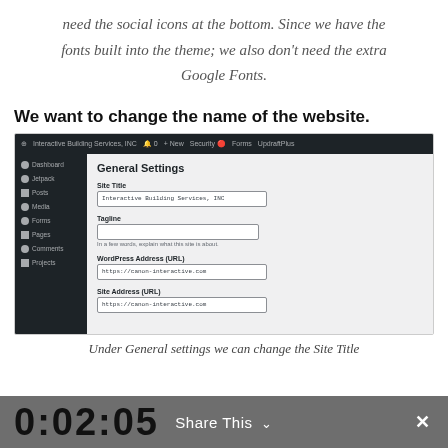need the social icons at the bottom. Since we have the fonts built into the theme; we also don't need the extra Google Fonts.
We want to change the name of the website.
[Figure (screenshot): WordPress admin General Settings page showing Site Title field with 'Interactive Building Services, INC', Tagline field, WordPress Address (URL) and Site Address (URL) fields with https://canon-interactive.com]
Under General settings we can change the Site Title
0:02:05   Share This   ✕